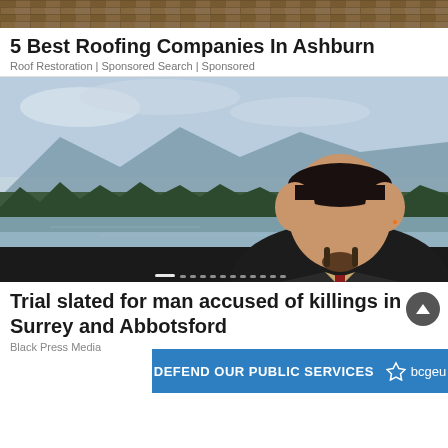[Figure (photo): Roofing tiles image at top of page - advertisement banner]
5 Best Roofing Companies In Ashburn
Roof Restoration | Sponsored Search | Sponsored
[Figure (photo): Man in dark suit with red striped tie standing in front of a lake and mountain/forest background. Photo is associated with the article about trial for accused killer in Surrey and Abbotsford.]
Trial slated for man accused of killings in Surrey and Abbotsford
Black Press Media
DEFEND OUR PUBLIC SERVICES bcgeu